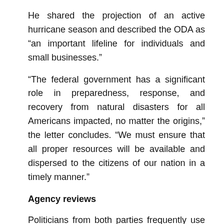He shared the projection of an active hurricane season and described the ODA as “an important lifeline for individuals and small businesses.”
“The federal government has a significant role in preparedness, response, and recovery from natural disasters for all Americans impacted, no matter the origins,” the letter concludes. “We must ensure that all proper resources will be available and dispersed to the citizens of our nation in a timely manner.”
Agency reviews
Politicians from both parties frequently use the word “accountability” to bludgeon an official or agency for inferior performance.